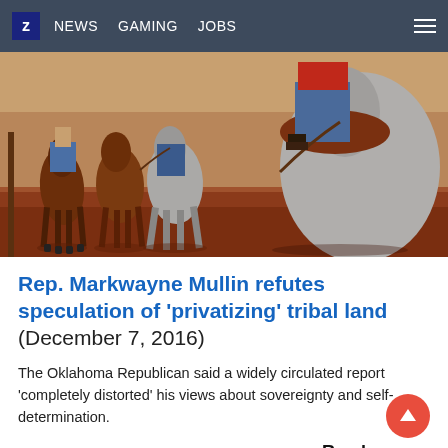Z  NEWS  GAMING  JOBS
[Figure (photo): People on horseback viewed from behind, riding on red dirt ground. Multiple horses visible including brown and grey horses. Riders wearing jeans and casual clothing.]
Rep. Markwayne Mullin refutes speculation of 'privatizing' tribal land (December 7, 2016)
The Oklahoma Republican said a widely circulated report 'completely distorted' his views about sovereignty and self-determination.
Read more >